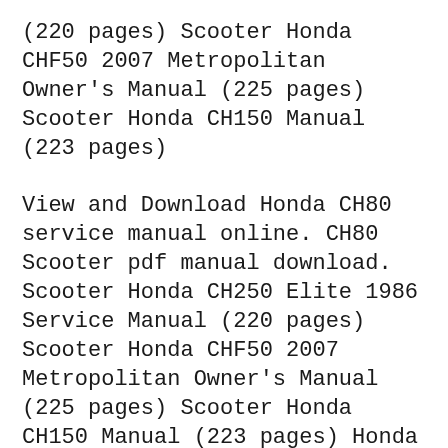(220 pages) Scooter Honda CHF50 2007 Metropolitan Owner's Manual (225 pages) Scooter Honda CH150 Manual (223 pages)
View and Download Honda CH80 service manual online. CH80 Scooter pdf manual download. Scooter Honda CH250 Elite 1986 Service Manual (220 pages) Scooter Honda CHF50 2007 Metropolitan Owner's Manual (225 pages) Scooter Honda CH150 Manual (223 pages) Honda Scooter CH80 Elite (1985 - 2007) Complete coverage for your vehicle Written from hands-on experience gained from the complete strip-down and rebuild of a Honda Scooter CH80 Elite. Haynes can help